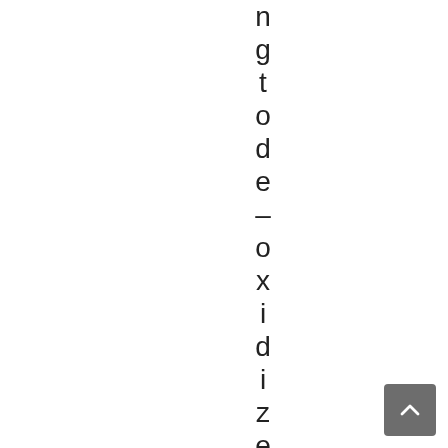ngtode-oxidizetheb
[Figure (other): Scroll-to-top button with upward arrow chevron, grey rounded rectangle]